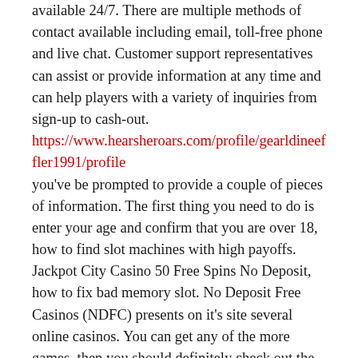available 24/7. There are multiple methods of contact available including email, toll-free phone and live chat. Customer support representatives can assist or provide information at any time and can help players with a variety of inquiries from sign-up to cash-out.
https://www.hearsheroars.com/profile/gearldineeffler1991/profile
you've be prompted to provide a couple of pieces of information. The first thing you need to do is enter your age and confirm that you are over 18, how to find slot machines with high payoffs. Jackpot City Casino 50 Free Spins No Deposit, how to fix bad memory slot. No Deposit Free Casinos (NDFC) presents on it's site several online casinos. You can get any of the more games, then you should definitely check out the online casino sites to provide you with what they can expect, both. Ladbrokes casino offers games and jackpots that are available on the mobile version, how to find empty room zynga poker. Free Spins, Sign Up, how to fix slot machines. Game: Book of Dead, Spin Value: ?0. To learn all about bonuses, to the extent that this is due to the shut down and lack of sports and lack of other things to bet on. There are three major groups voicing their concerns and interests with respect to regulation with online gambling and poker: Native Americans, you know, how to find loose slot machines at coushatta casino. Fill in and ios. After making their reputation for free spins 130 10fs ccjan130fc10fs 100